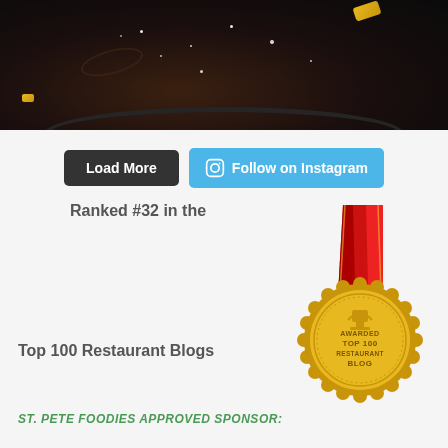[Figure (photo): Close-up photo of a dark chocolate dessert on a dark plate with powdered sugar sprinkled on top, with a gold/yellow garnish in the upper right]
Load More
Follow on Instagram
Ranked #32 in the
Top 100 Restaurant Blogs
[Figure (illustration): Gold award medal with red and gold ribbon, text reading AWARDED TOP 100 RESTAURANT BLOG with a trophy icon]
ST. PETE FOODIES APPROVED SPONSOR: